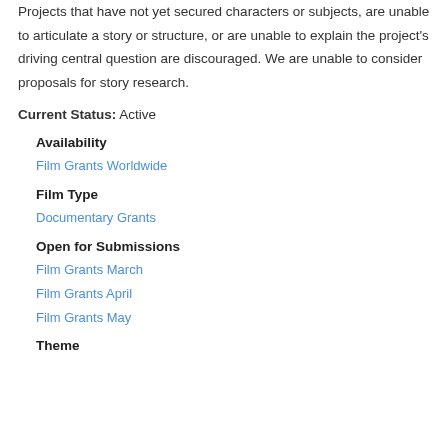Projects that have not yet secured characters or subjects, are unable to articulate a story or structure, or are unable to explain the project's driving central question are discouraged. We are unable to consider proposals for story research.
Current Status: Active
Availability
Film Grants Worldwide
Film Type
Documentary Grants
Open for Submissions
Film Grants March
Film Grants April
Film Grants May
Theme